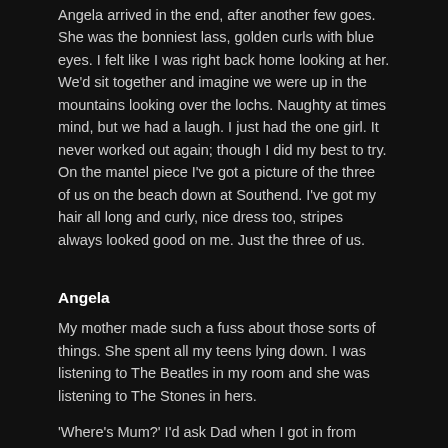Angela arrived in the end, after another few goes. She was the bonniest lass, golden curls with blue eyes. I felt like I was right back home looking at her. We'd sit together and imagine we were up in the mountains looking over the lochs. Naughty at times mind, but we had a laugh. I just had the one girl. It never worked out again; though I did my best to try. On the mantel piece I've got a picture of the three of us on the beach down at Southend. I've got my hair all long and curly, nice dress too, stripes always looked good on me. Just the three of us.
Angela
My mother made such a fuss about those sorts of things. She spent all my teens lying down. I was listening to The Beatles in my room and she was listening to The Stones in hers.
'Where's Mum?' I'd ask Dad when I got in from school.